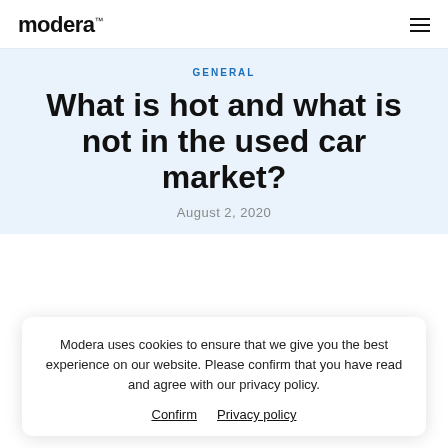modera™
GENERAL
What is hot and what is not in the used car market?
August 2, 2020
Modera uses cookies to ensure that we give you the best experience on our website. Please confirm that you have read and agree with our privacy policy.
Confirm  Privacy policy